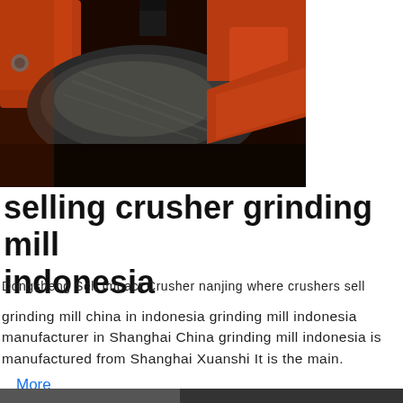[Figure (photo): Close-up photo of an orange/red industrial crusher or grinding mill machine with dark crushed material visible between the crushing surfaces.]
selling crusher grinding mill indonesia
Dongsheng Sell Impact Crusher nanjing where crushers sell
grinding mill china in indonesia grinding mill indonesia manufacturer in Shanghai China grinding mill indonesia is manufactured from Shanghai Xuanshi It is the main.
More
[Figure (photo): Partial bottom photo strip — another industrial equipment image, partially visible at page bottom.]